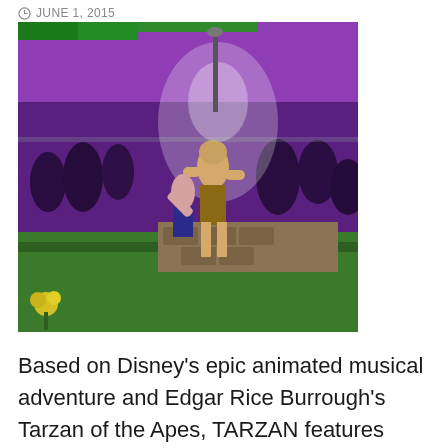JUNE 1, 2015
[Figure (photo): Stage performance photo showing actors dancing on stage with purple lighting, audience in background, jungle/stone set pieces visible, yellow flowers in foreground]
Based on Disney's epic animated musical adventure and Edgar Rice Burrough's Tarzan of the Apes, TARZAN features heart-pumping music by rock legend Phil Collins and a book by Tony Award-winning playwright, David Henry Hwang. 70 youth's crazy energy and hits like the Academy Award